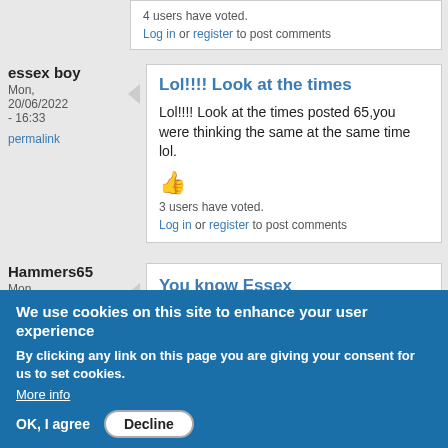4 users have voted.
Log in or register to post comments
essex boy
Mon, 20/06/2022 - 16:33
permalink
Lol!!!! Look at the times
Lol!!!! Look at the times posted 65,you were thinking the same at the same time lol.
3 users have voted.
Log in or register to post comments
Hammers65
Mon, 20/06/2022 -
You know Essex
We use cookies on this site to enhance your user experience
By clicking any link on this page you are giving your consent for us to set cookies.
More info
OK, I agree
Decline